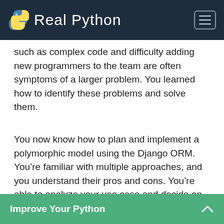Real Python
such as complex code and difficulty adding new programmers to the team are often symptoms of a larger problem. You learned how to identify these problems and solve them.
You now know how to plan and implement a polymorphic model using the Django ORM. You’re familiar with multiple approaches, and you understand their pros and cons. You’re able to analyze your use case and decide on the best course of action.
Mark as Completed
Improve Your Python